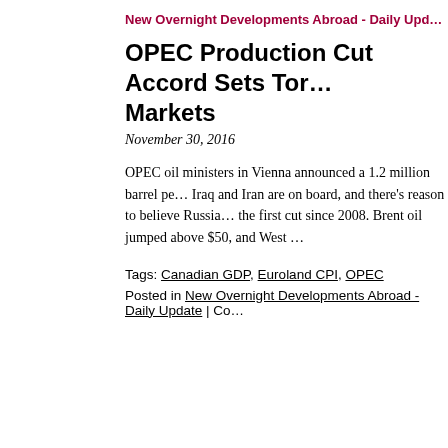New Overnight Developments Abroad - Daily Upd…
OPEC Production Cut Accord Sets Ton… Markets
November 30, 2016
OPEC oil ministers in Vienna announced a 1.2 million barrel pe… Iraq and Iran are on board, and there's reason to believe Russia… the first cut since 2008. Brent oil jumped above $50, and West …
Tags: Canadian GDP, Euroland CPI, OPEC
Posted in New Overnight Developments Abroad - Daily Update | Co…